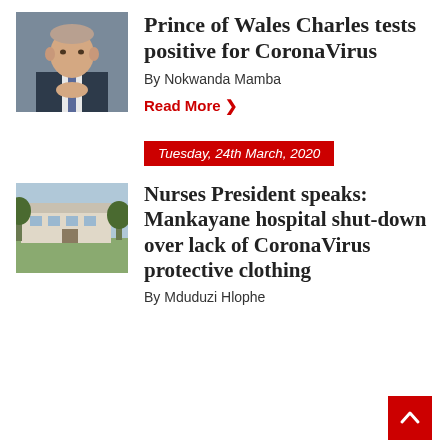[Figure (photo): Portrait photo of Prince Charles in a suit with hands clasped]
Prince of Wales Charles tests positive for CoronaVirus
By Nokwanda Mamba
Read More ›
[Figure (photo): Exterior photo of Mankayane hospital building]
Tuesday, 24th March, 2020
Nurses President speaks: Mankayane hospital shut-down over lack of CoronaVirus protective clothing
By Mduduzi Hlophe